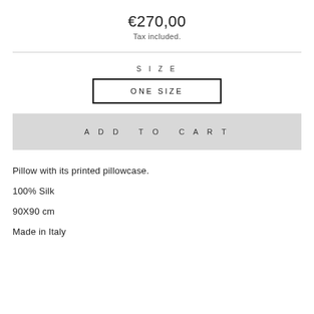€270,00
Tax included.
SIZE
ONE SIZE
ADD TO CART
Pillow with its printed pillowcase.
100% Silk
90X90 cm
Made in Italy